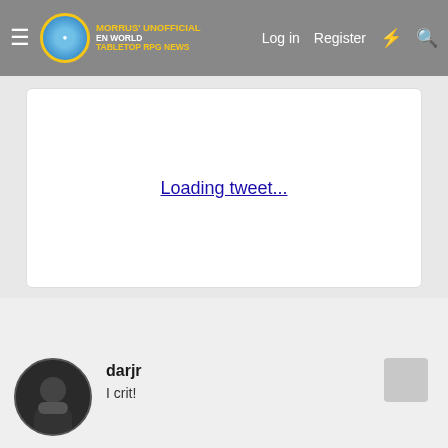Morrus' Unofficial Tabletop RPG News — Log in  Register
[Figure (other): Loading tweet placeholder box with link text 'Loading tweet...']
↩ Reply
👍 overgeeked and el-remmen
darjr
I crit!